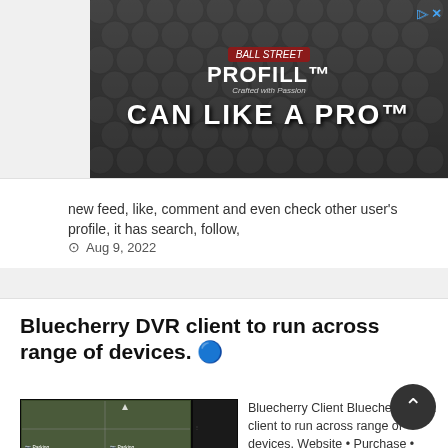[Figure (photo): Advertisement banner: PROFILL 'CAN LIKE A PRO' promotional image with stacked cans in background]
new feed, like, comment and even check other user's profile, it has search, follow,
Aug 9, 2022
Bluecherry DVR client to run across range of devices. 🔵
[Figure (screenshot): Screenshot of Bluecherry DVR client showing multi-camera surveillance view]
Bluecherry Client Bluecherry DVR client to run across range of devices. Website • Purchase • Chat [work-in-progress] Download iOS (coming soon) Androi
Aug 10, 2022